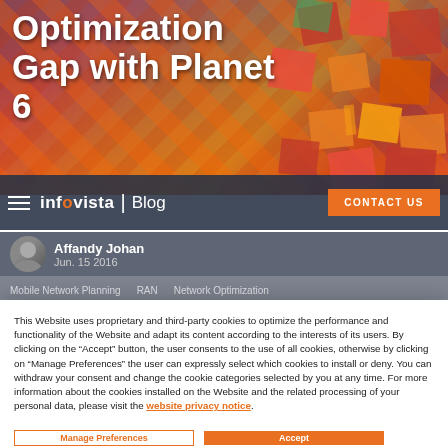[Figure (photo): Hero background image showing colorful 3D building blocks/cubes in red, orange, yellow and green colors on a dark background. Partial title text visible: 'Optimization Gap with Planet 6']
Optimization Gap with Planet 6
infovista | Blog   CONTACT US
Affandy Johan
Jun. 15 2016
Mobile Network Planning   RAN   Network Optimization
This Website uses proprietary and third-party cookies to optimize the performance and functionality of the Website and adapt its content according to the interests of its users. By clicking on the “Accept” button, the user consents to the use of all cookies, otherwise by clicking on “Manage Preferences” the user can expressly select which cookies to install or deny. You can withdraw your consent and change the cookie categories selected by you at any time. For more information about the cookies installed on the Website and the related processing of your personal data, please visit the website privacy notice.